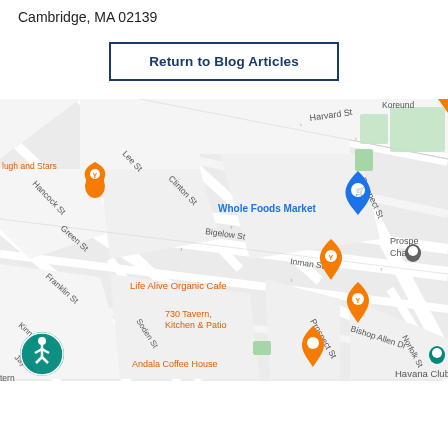Cambridge, MA 02139
Return to Blog Articles
[Figure (map): Google Maps street map showing the Inman Square area of Cambridge, MA. Visible landmarks include Whole Foods Market, Life Alive Organic Cafe, 730 Tavern Kitchen & Patio, Andala Coffee House, Havana Club, Central T station, Prospect Charter school. Streets include Harvard St, Prospect St, Inman St, Bigelow St, Clinton St, Lee St, Hancock St, Green St, Franklin St, Kinnaird St, Soden St, Jay St, Bishop Allen Dr, Norfolk St. There is an accessibility icon in the lower left corner.]